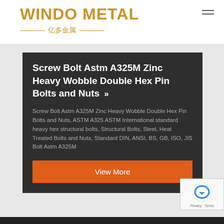WINDO METAL
亿多金属
Screw Bolt Astm A325M Zinc Heavy Wobble Double Hex Pin Bolts and Nuts >>
Screw Bolt Astm A325M Zinc Heavy Wobble Double Hex Pin Bolts and Nuts, ASTM A325 ASTM International standard heavy hex structural bolts, Structural Bolts, Steel, Heat Treated Bolts and Nuts, Standard DIN, ANSI, BS, GB, ISO, JIS Bolt Astm A325M
View More
[Figure (logo): reCAPTCHA logo with circular arrow icon and Privacy/Terms text]